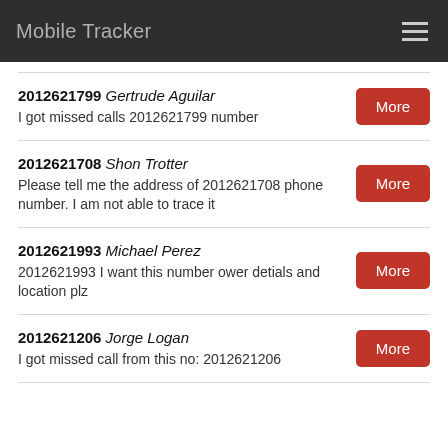Mobile Tracker
2012621799 Gertrude Aguilar
I got missed calls 2012621799 number
2012621708 Shon Trotter
Please tell me the address of 2012621708 phone number. I am not able to trace it
2012621993 Michael Perez
2012621993 I want this number ower detials and location plz
2012621206 Jorge Logan
I got missed call from this no: 2012621206